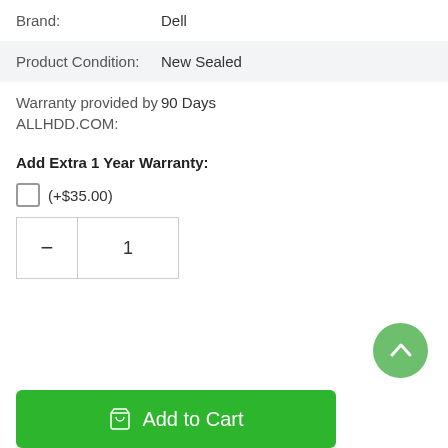| Brand: | Dell |
| Product Condition: | New Sealed |
| Warranty provided by ALLHDD.COM: | 90 Days |
Add Extra 1 Year Warranty:
(+$35.00)
1
Add to Cart